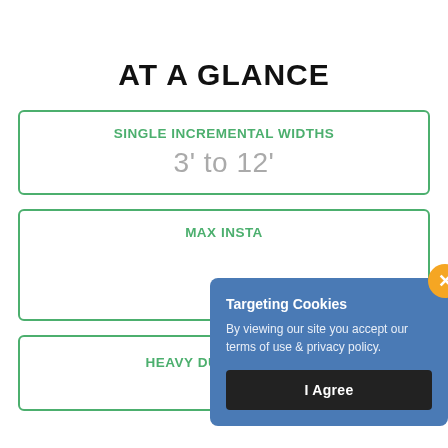AT A GLANCE
SINGLE INCREMENTAL WIDTHS
3' to 12'
MAX INSTA[LLATION WIDTH]
HEAVY DUTY MOTORS
Targeting Cookies
By viewing our site you accept our terms of use & privacy policy.
I Agree